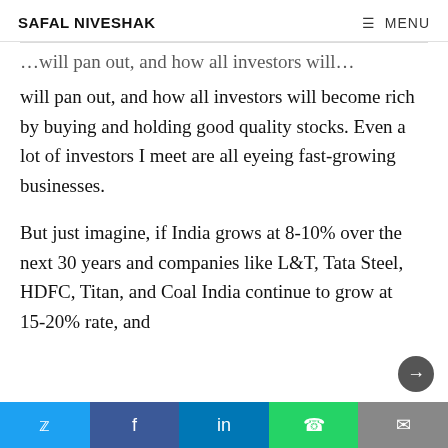SAFAL NIVESHAK | ≡ MENU
will pan out, and how all investors will become rich by buying and holding good quality stocks. Even a lot of investors I meet are all eyeing fast-growing businesses.
But just imagine, if India grows at 8-10% over the next 30 years and companies like L&T, Tata Steel, HDFC, Titan, and Coal India continue to grow at 15-20% rate, and